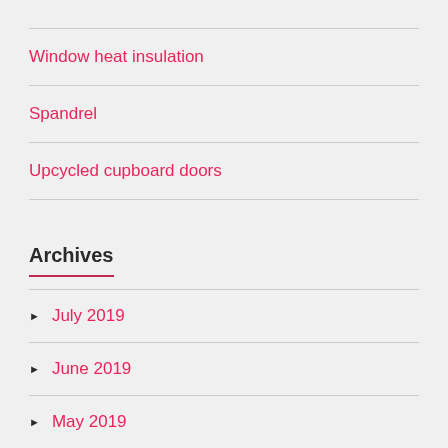Window heat insulation
Spandrel
Upcycled cupboard doors
Archives
July 2019
June 2019
May 2019